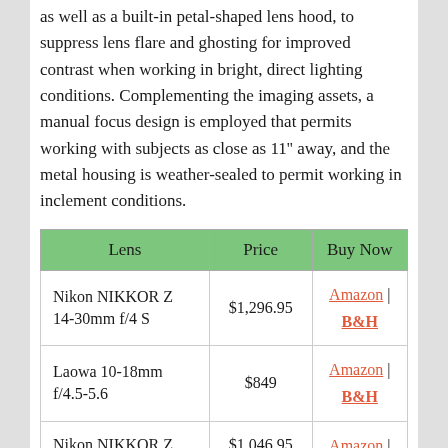as well as a built-in petal-shaped lens hood, to suppress lens flare and ghosting for improved contrast when working in bright, direct lighting conditions. Complementing the imaging assets, a manual focus design is employed that permits working with subjects as close as 11" away, and the metal housing is weather-sealed to permit working in inclement conditions.
| Lens | Price | Buy Now |
| --- | --- | --- |
| Nikon NIKKOR Z 14-30mm f/4 S | $1,296.95 | Amazon | B&H |
| Laowa 10-18mm f/4.5-5.6 | $849 | Amazon | B&H |
| Nikon NIKKOR Z | $1,046.95 | Amazon | |